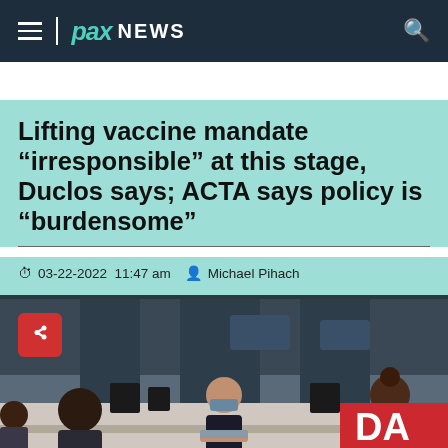PAX NEWS
Lifting vaccine mandate “irresponsible” at this stage, Duclos says; ACTA says policy is “burdensome”
03-22-2022  11:47 am   Michael Pihach
[Figure (photo): Airport check-in counter scene with airline staff wearing masks and passengers at the counter. Canada airline signage visible in background.]